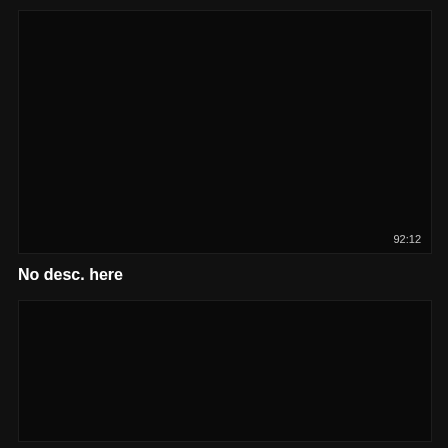[Figure (photo): A mostly black/dark image frame with a timestamp '92:12' in the lower right corner.]
No desc. here
[Figure (photo): A mostly black/dark image frame with no visible content.]